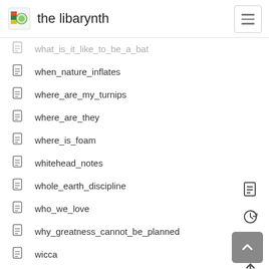the libarynth
what_is_it_like_to_be_a_bat
when_nature_inflates
where_are_my_turnips
where_are_they
where_is_foam
whitehead_notes
whole_earth_discipline
who_we_love
why_greatness_cannot_be_planned
wicca
wicked_problems
wikistatistics
wikiword
wiki_gardening
wild_swans
wilhelm_reich
william_gibson
william_mcdonough
wilson_holmes